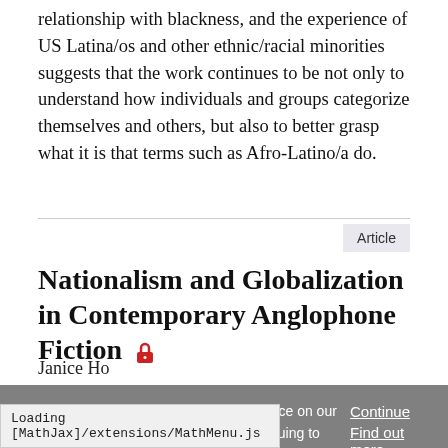relationship with blackness, and the experience of US Latina/os and other ethnic/racial minorities suggests that the work continues to be not only to understand how individuals and groups categorize themselves and others, but also to better grasp what it is that terms such as Afro-Latino/a do.
Article
Nationalism and Globalization in Contemporary Anglophone Fiction
Janice Ho
We use cookies to enhance your experience on our website. By clicking 'continue' or by continuing to use our website, you are agreeing to our use of cookies. You can change your cookie settings at any time.
Continue
Find out more
Loading [MathJax]/extensions/MathMenu.js